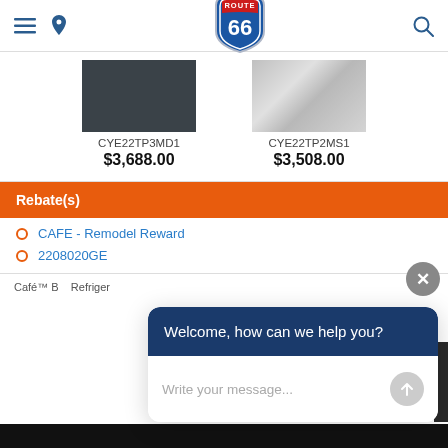[Figure (logo): Route 66 shield logo with red top banner and blue shield body showing '66']
[Figure (other): Dark charcoal color swatch for product CYE22TP3MD1]
CYE22TP3MD1
$3,688.00
[Figure (other): Silver/metallic color swatch for product CYE22TP2MS1]
CYE22TP2MS1
$3,508.00
Rebate(s)
CAFE - Remodel Reward
2208020GE
Café™ B... Refriger...
[Figure (screenshot): Chat widget overlay with 'Welcome, how can we help you?' header and message input field]